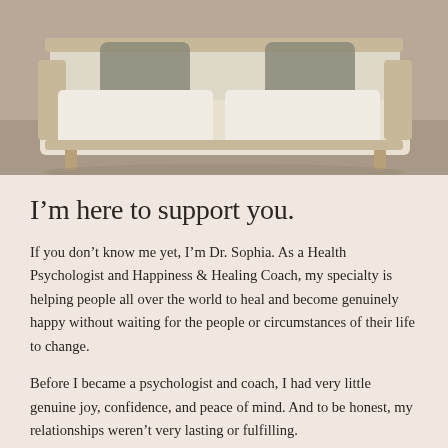[Figure (photo): Photo of a cream/ivory upholstered sofa with wooden frame and grey cushions, viewed from slightly above, with a warm grey background]
I'm here to support you.
If you don't know me yet, I'm Dr. Sophia. As a Health Psychologist and Happiness & Healing Coach, my specialty is helping people all over the world to heal and become genuinely happy without waiting for the people or circumstances of their life to change.
Before I became a psychologist and coach, I had very little genuine joy, confidence, and peace of mind. And to be honest, my relationships weren't very lasting or fulfilling.
So I had to learn